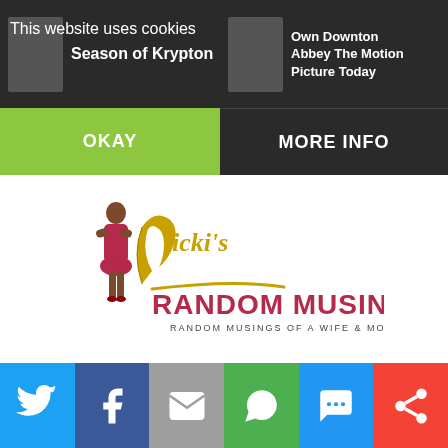This website uses cookies
OKAY
Season of Krypton
Own Downton Abbey The Motion Picture Today
MORE INFO
[Figure (logo): Nicki's Random Musings logo — a stylized woman figure next to gold script 'Nicki's' and bold red text 'RANDOM MUSINGS', with subtitle 'RANDOM MUSINGS OF A WIFE & MOTHER']
[Figure (infographic): Social sharing bar with icons: Twitter (blue), Facebook (dark blue), Email (grey), WhatsApp (green), SMS (blue), More/share (red)]